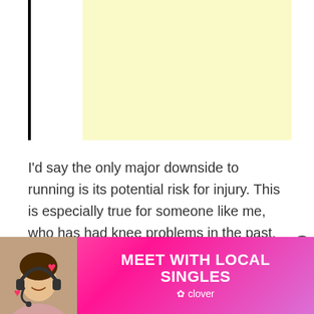[Figure (other): Yellow advertisement placeholder block with left black vertical border line]
I'd say the only major downside to running is its potential risk for injury. This is especially true for someone like me, who has had knee problems in the past.
[Figure (other): Banner advertisement: 'MEET WITH LOCAL SINGLES' by Clover dating app, pink/purple gradient background with photo of smiling woman with headset and red hearts]